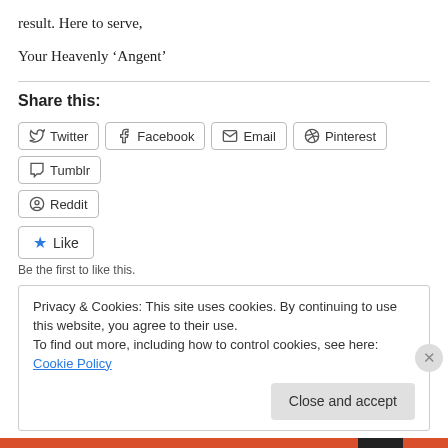result. Here to serve,
Your Heavenly ‘Angent’
Share this:
Twitter Facebook Email Pinterest Tumblr Reddit
Like
Be the first to like this.
Privacy & Cookies: This site uses cookies. By continuing to use this website, you agree to their use.
To find out more, including how to control cookies, see here: Cookie Policy
Close and accept